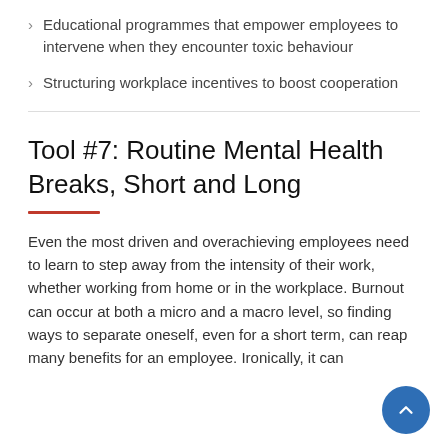Educational programmes that empower employees to intervene when they encounter toxic behaviour
Structuring workplace incentives to boost cooperation
Tool #7: Routine Mental Health Breaks, Short and Long
Even the most driven and overachieving employees need to learn to step away from the intensity of their work, whether working from home or in the workplace. Burnout can occur at both a micro and a macro level, so finding ways to separate oneself, even for a short term, can reap many benefits for an employee. Ironically, it can